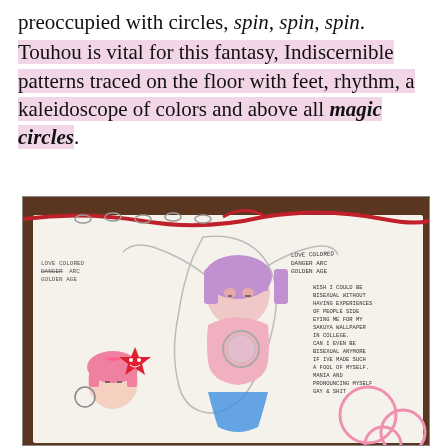preoccupied with circles, spin, spin, spin. Touhou is vital for this fantasy, Indiscernible patterns traced on the floor with feet, rhythm, a kaleidoscope of colors and above all magic circles.
[Figure (illustration): A photo of a hand-drawn sketchbook page showing anime-style characters with pink and purple hair, a red star sticker, circular shapes, and handwritten notes on the right side.]